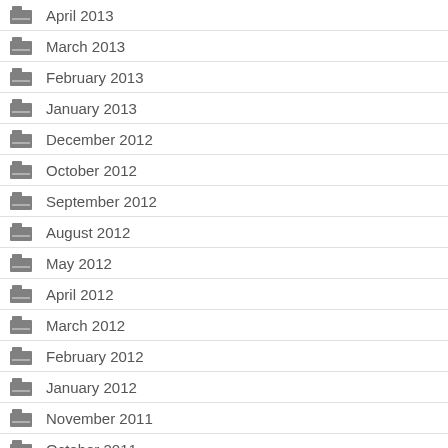April 2013
March 2013
February 2013
January 2013
December 2012
October 2012
September 2012
August 2012
May 2012
April 2012
March 2012
February 2012
January 2012
November 2011
October 2011